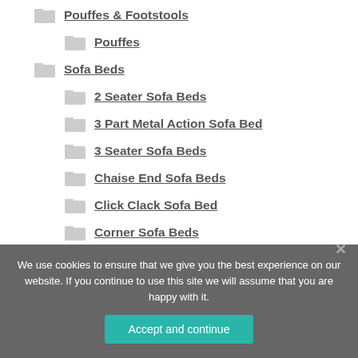Pouffes & Footstools
Pouffes
Sofa Beds
2 Seater Sofa Beds
3 Part Metal Action Sofa Bed
3 Seater Sofa Beds
Chaise End Sofa Beds
Click Clack Sofa Bed
Corner Sofa Beds
Daybeds
We use cookies to ensure that we give you the best experience on our website. If you continue to use this site we will assume that you are happy with it.
Accept and continue